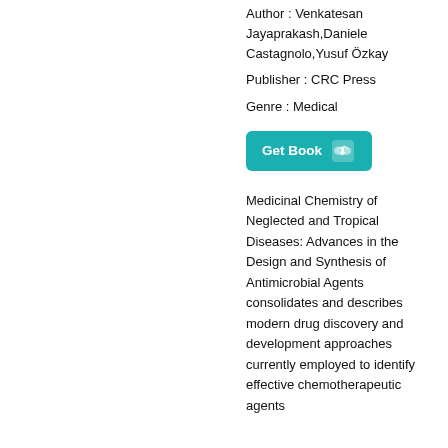Author : Venkatesan Jayaprakash,Daniele Castagnolo,Yusuf Özkay
Publisher : CRC Press
Genre : Medical
[Figure (other): Get Book button with download cloud icon, teal/cyan background]
Medicinal Chemistry of Neglected and Tropical Diseases: Advances in the Design and Synthesis of Antimicrobial Agents consolidates and describes modern drug discovery and development approaches currently employed to identify effective chemotherapeutic agents